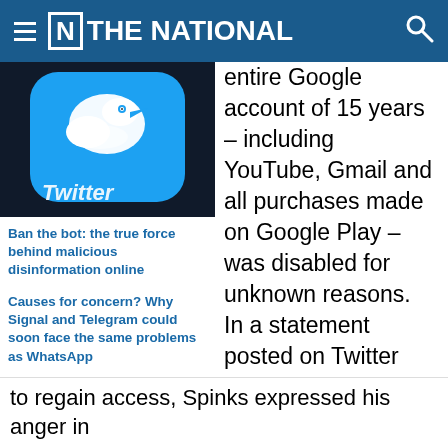[N] THE NATIONAL
[Figure (photo): Twitter app icon on a smartphone screen showing blue bird logo]
Ban the bot: the true force behind malicious disinformation online
Causes for concern? Why Signal and Telegram could soon face the same problems as WhatsApp
Cracking the Cryptic: How the healing art of sudoku became a YouTube sensation
entire Google account of 15 years – including YouTube, Gmail and all purchases made on Google Play – was disabled for unknown reasons. In a statement posted on Twitter after three weeks of trying and failing to regain access, Spinks expressed his anger in